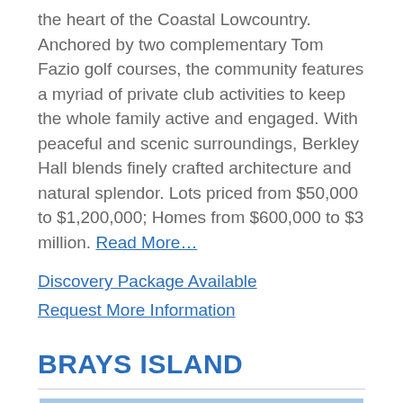the heart of the Coastal Lowcountry. Anchored by two complementary Tom Fazio golf courses, the community features a myriad of private club activities to keep the whole family active and engaged. With peaceful and scenic surroundings, Berkley Hall blends finely crafted architecture and natural splendor. Lots priced from $50,000 to $1,200,000; Homes from $600,000 to $3 million. Read More…
Discovery Package Available
Request More Information
BRAYS ISLAND
[Figure (photo): Landscape photo of Brays Island showing a green field with trees in the background under a blue sky]